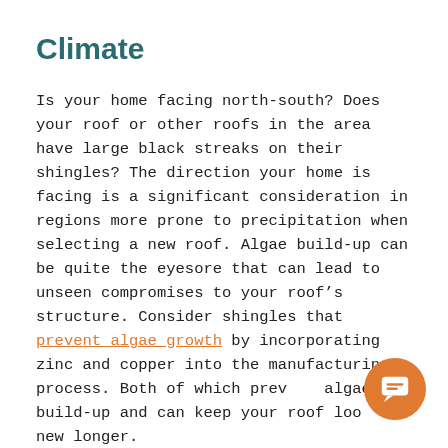Climate
Is your home facing north-south? Does your roof or other roofs in the area have large black streaks on their shingles? The direction your home is facing is a significant consideration in regions more prone to precipitation when selecting a new roof. Algae build-up can be quite the eyesore that can lead to unseen compromises to your roof’s structure. Consider shingles that prevent algae growth by incorporating zinc and copper into the manufacturing process. Both of which prevent algae build-up and can keep your roof looking new longer.